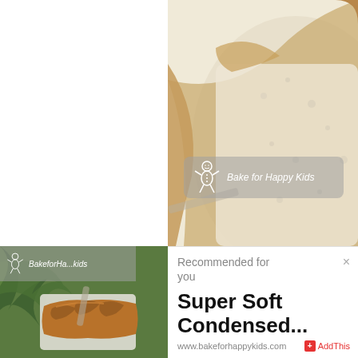[Figure (photo): Close-up photo of sliced white bread showing soft interior crumb, occupying the top-right portion of the page]
[Figure (photo): Photo of a braided/twisted bread loaf with ferns in the background, occupying the bottom-left portion of the page]
Recommended for you
Super Soft Condensed...
www.bakeforhappykids.com
AddThis